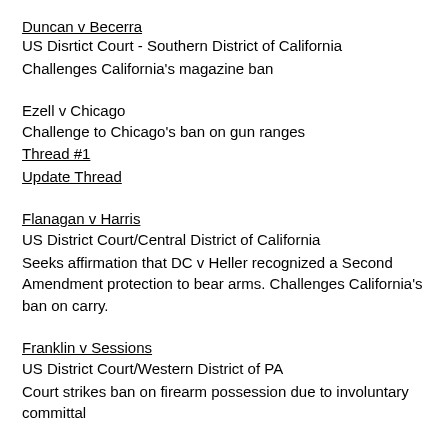Duncan v Becerra
US Disrtict Court - Southern District of California
Challenges California's magazine ban
Ezell v Chicago
Challenge to Chicago's ban on gun ranges
Thread #1
Update Thread
Flanagan v Harris
US District Court/Central District of California
Seeks affirmation that DC v Heller recognized a Second Amendment protection to bear arms. Challenges California's ban on carry.
Franklin v Sessions
US District Court/Western District of PA
Court strikes ban on firearm possession due to involuntary committal